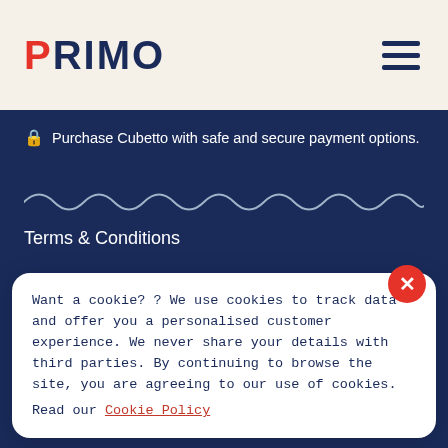[Figure (logo): PRIMO logo with red P and dark navy RIMO, on cream background with hamburger menu icon top right]
🔒 Purchase Cubetto with safe and secure payment options.
[Figure (other): Decorative wavy line divider in white on navy background]
Terms & Conditions
Return & Shipping Policy
Privacy Policy
Want a cookie? ? We use cookies to track data and offer you a personalised customer experience. We never share your details with third parties. By continuing to browse the site, you are agreeing to our use of cookies. Read our Cookie Policy